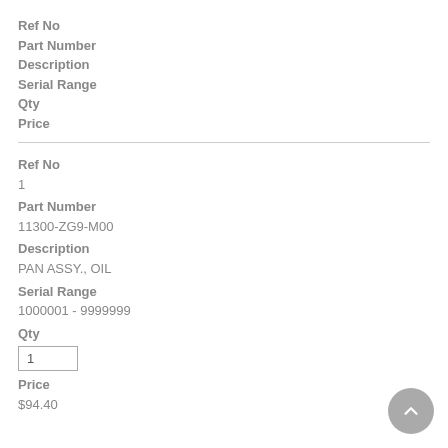Ref No
Part Number
Description
Serial Range
Qty
Price
| Field | Value |
| --- | --- |
| Ref No | 1 |
| Part Number | 11300-ZG9-M00 |
| Description | PAN ASSY., OIL |
| Serial Range | 1000001 - 9999999 |
| Qty | 1 |
| Price | $94.40 |